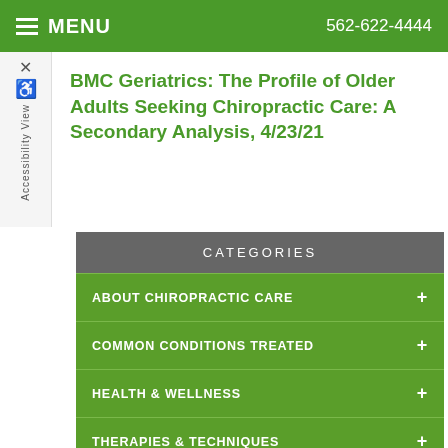MENU   562-622-4444
BMC Geriatrics: The Profile of Older Adults Seeking Chiropractic Care: A Secondary Analysis, 4/23/21
CATEGORIES
ABOUT CHIROPRACTIC CARE
COMMON CONDITIONS TREATED
HEALTH & WELLNESS
THERAPIES & TECHNIQUES
NEWSLETTER LIBRARY
WELLNESS4KIDS